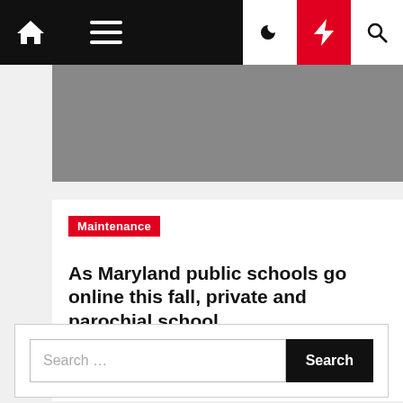Navigation bar with home, menu, dark mode, breaking news, and search icons
[Figure (photo): Gray image placeholder for article thumbnail]
Maintenance
As Maryland public schools go online this fall, private and parochial school…
Torri Donley  2 years ago
Search …